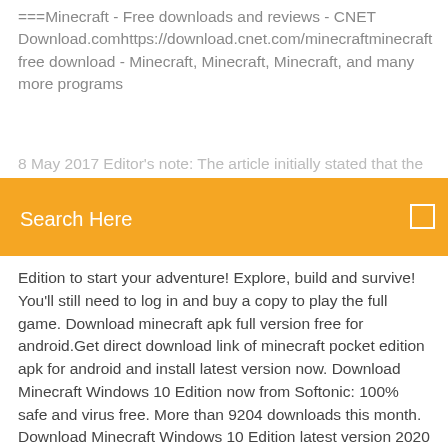===Minecraft - Free downloads and reviews - CNET Download.comhttps://download.cnet.com/minecraftminecraft free download - Minecraft, Minecraft, Minecraft, and many more programs
8 May 2017 Editor's note: The article initially stated that the new
[Figure (screenshot): Orange search bar UI element with 'Search Here' text in white on left and a small white square icon on the right]
Edition to start your adventure! Explore, build and survive! You'll still need to log in and buy a copy to play the full game. Download minecraft apk full version free for android.Get direct download link of minecraft pocket edition apk for android and install latest version now. Download Minecraft Windows 10 Edition now from Softonic: 100% safe and virus free. More than 9204 downloads this month. Download Minecraft Windows 10 Edition latest version 2020 Minecraft Windows 10 Edition, gratis download (Windows). Minecraft Windows 10 Edition 1.13: